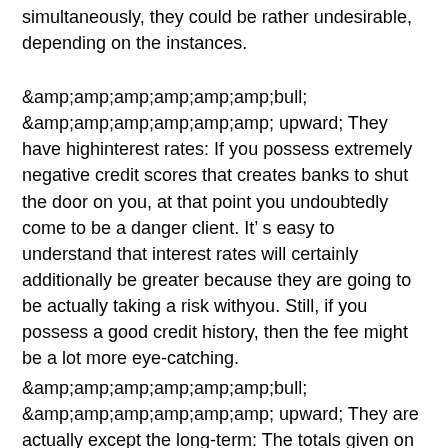simultaneously, they could be rather undesirable, depending on the instances.
&amp;amp;amp;amp;amp;amp;amp;bull; &amp;amp;amp;amp;amp;amp;amp; upward; They have highinterest rates: If you possess extremely negative credit scores that creates banks to shut the door on you, at that point you undoubtedly come to be a danger client. It's easy to understand that interest rates will certainly additionally be greater because they are going to be actually taking a risk withyou. Still, if you possess a good credit history, then the fee might be a lot more eye-catching.
&amp;amp;amp;amp;amp;amp;amp;bull; &amp;amp;amp;amp;amp;amp;amp; upward; They are actually except the long-term: The totals given on swift my cash now reviews are actually relatively tiny, so the possibilities are actually that they will definitely certainly not really assist you in the lasting. They may assist you purchase tomorrow's dinner, however they might not have the ability to take care of